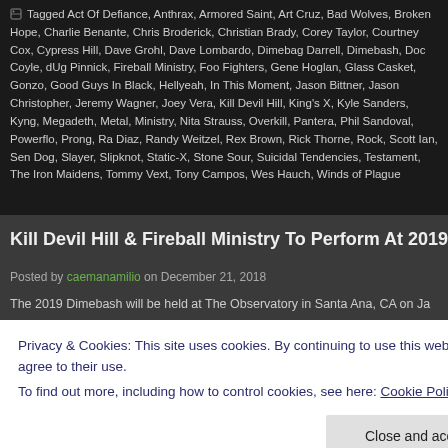Tagged Act Of Defiance, Anthrax, Armored Saint, Art Cruz, Bad Wolves, Broken Hope, Charlie Benante, Chris Broderick, Christian Brady, Corey Taylor, Courtney Cox, Cypress Hill, Dave Grohl, Dave Lombardo, Dimebag Darrell, Dimebash, Doc Coyle, dUg Pinnick, Fireball Ministry, Foo Fighters, Gene Hoglan, Glass Casket, Gonzo, Good Guys In Black, Hellyeah, In This Moment, Jason Bittner, Jason Christopher, Jeremy Wagner, Joey Vera, Kill Devil Hill, King's X, Kyle Sanders, Kyng, Megadeth, Metal, Ministry, Nita Strauss, Overkill, Pantera, Phil Sandoval, Powerflo, Prong, Ra Diaz, Randy Weitzel, Rex Brown, Rick Thorne, Rock, Scott Ian, Sen Dog, Slayer, Slipknot, Static-X, Stone Sour, Suicidal Tendencies, Testament, The Iron Maidens, Tommy Vext, Tony Campos, Wes Hauch, Winds of Plague
Kill Devil Hill & Fireball Ministry To Perform At 2019 Dimeb...
Posted by caemanamilio on December 21, 2018
The 2019 Dimebash will be held at The Observatory in Santa Ana, CA on Ja...
Privacy & Cookies: This site uses cookies. By continuing to use this website, you agree to their use.
To find out more, including how to control cookies, see here: Cookie Policy